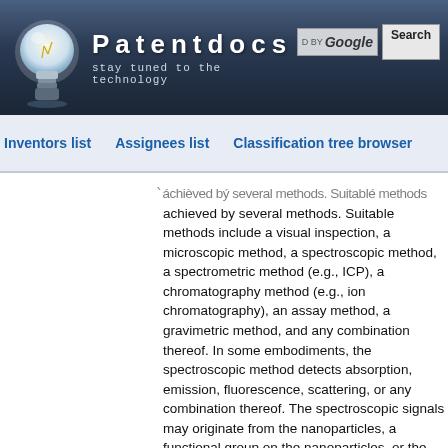Patentdocs — stay tuned to the technology
Inventors list   Assignees list   Classification tree browser
achieved by several methods. Suitable methods include a visual inspection, a microscopic method, a spectroscopic method, a spectrometric method (e.g., ICP), a chromatography method (e.g., ion chromatography), an assay method, a gravimetric method, and any combination thereof. In some embodiments, the spectroscopic method detects absorption, emission, fluorescence, scattering, or any combination thereof. The spectroscopic signals may originate from the nanoparticles, a functional group on the nanoparticles, or the analytes. In some embodiments, the spectroscopic signal may be from any combination of the nanoparticle, the functional group on the nanoparticle, and the analyte (e.g., after interacting with the nanoparticle).
[0024] It is believed that when drill bits reach a rock stratum that has a target ore, ions of the specific metal will leach into the drilling fluids. These metal ions will likely interact with the nanoparticle smart tags of the present invention and alter the resulting...